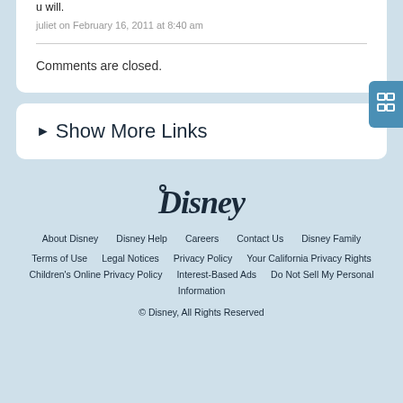u will.
juliet on February 16, 2011 at 8:40 am
Comments are closed.
► Show More Links
[Figure (logo): Disney logo in cursive script]
About Disney   Disney Help   Careers   Contact Us   Disney Family   Terms of Use   Legal Notices   Privacy Policy   Your California Privacy Rights   Children's Online Privacy Policy   Interest-Based Ads   Do Not Sell My Personal Information   © Disney, All Rights Reserved